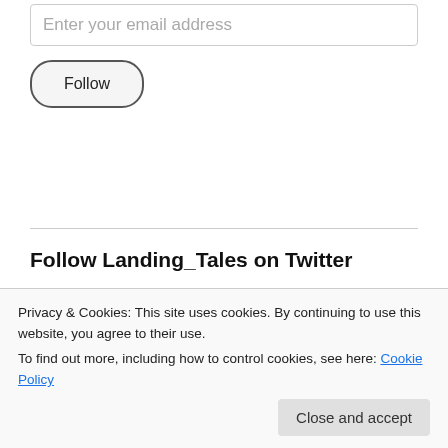Enter your email address
Follow
Follow Landing_Tales on Twitter
[Figure (screenshot): Twitter widget showing 'Tweets from @Landing_Tales' with a retweet by ChrisM and partial avatar row]
it is set in 1930s Kentucky &
Privacy & Cookies: This site uses cookies. By continuing to use this website, you agree to their use.
To find out more, including how to control cookies, see here: Cookie Policy
Close and accept